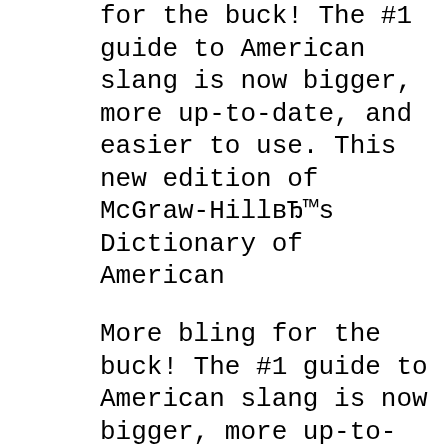for the buck! The #1 guide to American slang is now bigger, more up-to-date, and easier to use. This new edition of McGraw-HillвЂ™s Dictionary of American
More bling for the buck! The #1 guide to American slang is now bigger, more up-to-date, and easier to use. This new edition of McGraw-HillвЂ™s Dictionary of American 1/07/2008В В· rapidshare, megaupload, ziddu, depositfiles, gigasize, 4shared book review, medical, management, investment, technology, computer, economics, social
image All Image latest This Just In Flickr Commons Occupy Wall Street Flickr